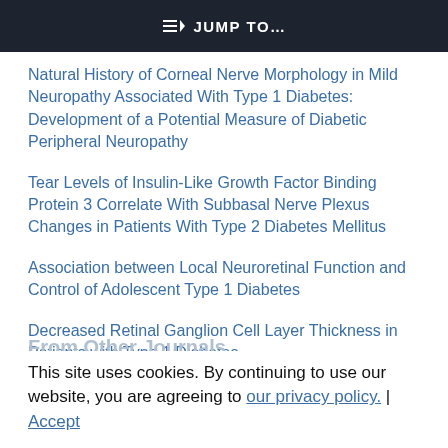JUMP TO...
Natural History of Corneal Nerve Morphology in Mild Neuropathy Associated With Type 1 Diabetes: Development of a Potential Measure of Diabetic Peripheral Neuropathy
Tear Levels of Insulin-Like Growth Factor Binding Protein 3 Correlate With Subbasal Nerve Plexus Changes in Patients With Type 2 Diabetes Mellitus
Association between Local Neuroretinal Function and Control of Adolescent Type 1 Diabetes
Decreased Retinal Ganglion Cell Layer Thickness in Patients with Type 1 Diabetes
From Other Journals
This site uses cookies. By continuing to use our website, you are agreeing to our privacy policy. Accept